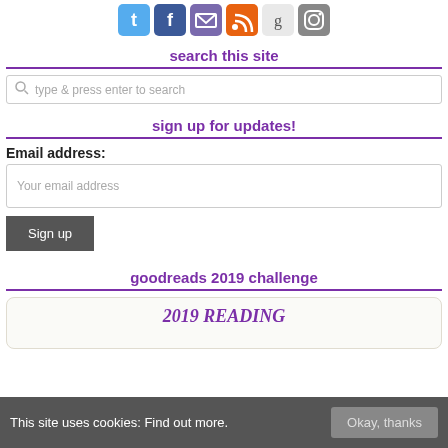[Figure (other): Row of social media icons: Twitter, Facebook, Email/envelope, RSS, Goodreads, Instagram]
search this site
[Figure (other): Search input box with magnifying glass icon and placeholder text 'type & press enter to search']
sign up for updates!
Email address:
[Figure (other): Email address input box with placeholder 'Your email address']
[Figure (other): Sign up button (dark grey)]
goodreads 2019 challenge
[Figure (other): Goodreads 2019 Reading Challenge widget box showing '2019 READING' text in purple italic]
This site uses cookies: Find out more.
[Figure (other): Cookie consent banner with 'Okay, thanks' button]